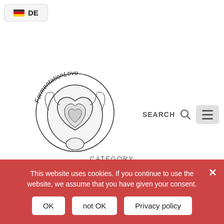[Figure (screenshot): German language selector button with DE flag icon]
[Figure (logo): FermentationLove circular logo with illustrated fermented vegetable and text around circle]
SEARCH
CATEGORY
honey
This website uses cookies. If you continue to use the website, we assume that you have given your consent.
OK
not OK
Privacy policy